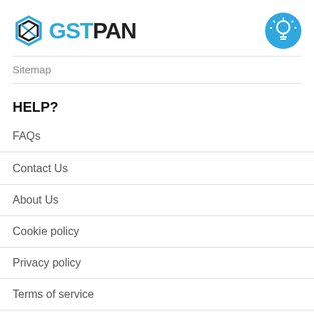[Figure (logo): GSTPAN logo with diamond/shield icon in blue and black, and a blue circle with lightbulb icon on the right]
Sitemap
HELP?
FAQs
Contact Us
About Us
Cookie policy
Privacy policy
Terms of service
Latest GSTIN